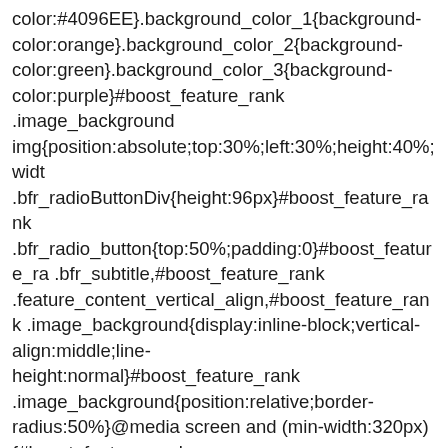color:#4096EE}.background_color_1{background-color:orange}.background_color_2{background-color:green}.background_color_3{background-color:purple}#boost_feature_rank .image_background img{position:absolute;top:30%;left:30%;height:40%;widt .bfr_radioButtonDiv{height:96px}#boost_feature_rank .bfr_radio_button{top:50%;padding:0}#boost_feature_ra .bfr_subtitle,#boost_feature_rank .feature_content_vertical_align,#boost_feature_rank .image_background{display:inline-block;vertical-align:middle;line-height:normal}#boost_feature_rank .image_background{position:relative;border-radius:50%}@media screen and (min-width:320px){#boost_feature_rank .image_background{width:65px;height:65px}}@media screen and (min-width:400px) {#boost_feature_rank .image_background{width:72px;height:72px}}#boost_fea .bfr_subtitle,#boost_feature_rank .feature_text{font-family:Arial,sans-serif;margin-top:0}@media screen and (min-width:320px) {#boost_feature_rank .bfr_subtitle,#boost_feature_rank